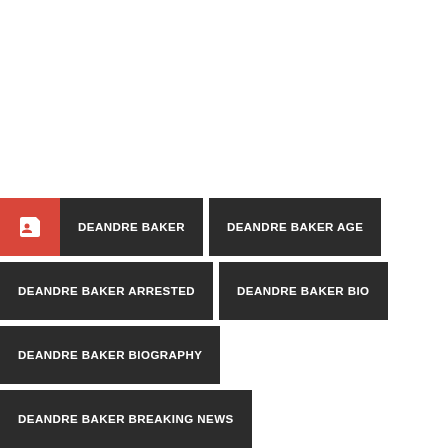DEANDRE BAKER
DEANDRE BAKER AGE
DEANDRE BAKER ARRESTED
DEANDRE BAKER BIO
DEANDRE BAKER BIOGRAPHY
DEANDRE BAKER BREAKING NEWS